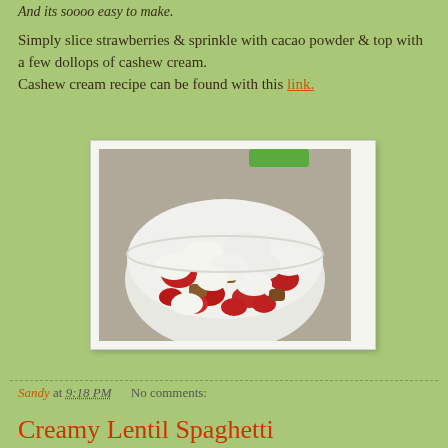And its soooo easy to make.
Simply slice strawberries & sprinkle with cacao powder & top with a few dollops of cashew cream.
Cashew cream recipe can be found with this link.
[Figure (photo): A white bowl filled with sliced strawberries topped with dollops of white cashew cream, on a gray surface with a green utensil visible in the background.]
Sandy at 9:18 PM    No comments:
Creamy Lentil Spaghetti